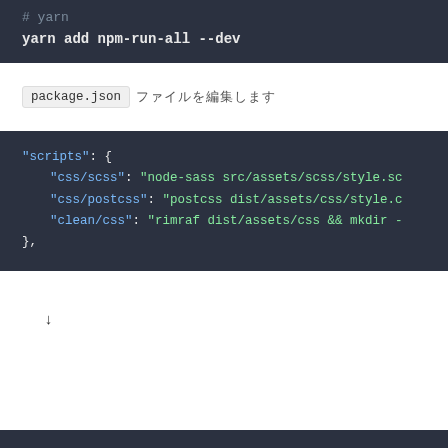# yarn
yarn add npm-run-all --dev
package.json ファイルを編集します
"scripts": {
    "css/scss": "node-sass src/assets/scss/style.sc
    "css/postcss": "postcss dist/assets/css/style.c
    "clean/css": "rimraf dist/assets/css && mkdir -
},
↓